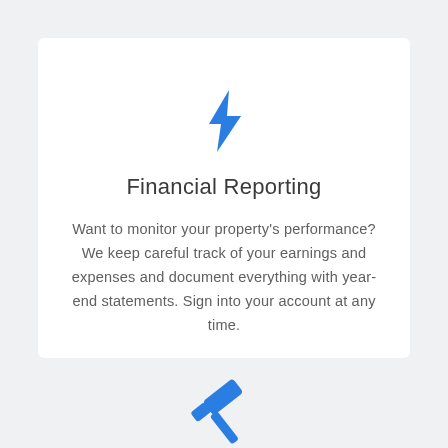[Figure (illustration): Blue lightning bolt icon]
Financial Reporting
Want to monitor your property's performance? We keep careful track of your earnings and expenses and document everything with year-end statements. Sign into your account at any time.
[Figure (illustration): Blue gavel/hammer icon (partially visible at bottom)]